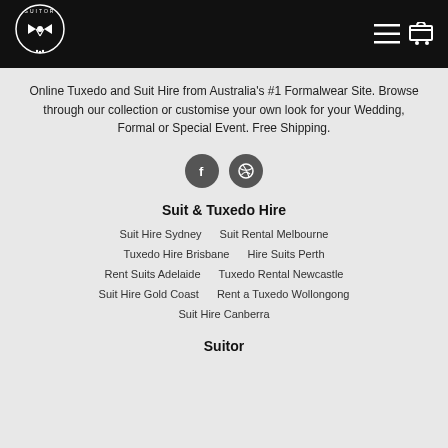[Figure (logo): Suitor logo — circular badge with bow tie icon on black header bar]
Online Tuxedo and Suit Hire from Australia's #1 Formalwear Site. Browse through our collection or customise your own look for your Wedding, Formal or Special Event. Free Shipping.
[Figure (illustration): Two circular dark grey social media icon buttons — Facebook (f) and Dribbble]
Suit & Tuxedo Hire
Suit Hire Sydney
Suit Rental Melbourne
Tuxedo Hire Brisbane
Hire Suits Perth
Rent Suits Adelaide
Tuxedo Rental Newcastle
Suit Hire Gold Coast
Rent a Tuxedo Wollongong
Suit Hire Canberra
Suitor